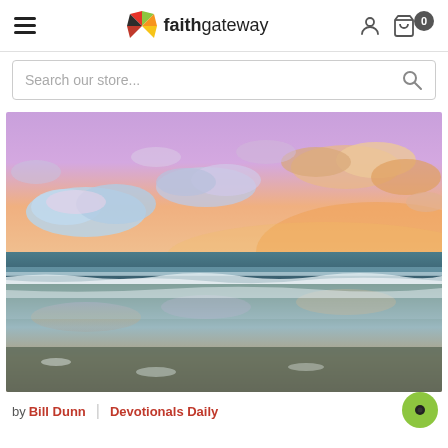faithgateway
Search our store...
[Figure (photo): A vibrant beach sunset scene with purple and pink clouds reflected on wet sand, waves in the background]
by Bill Dunn | Devotionals Daily